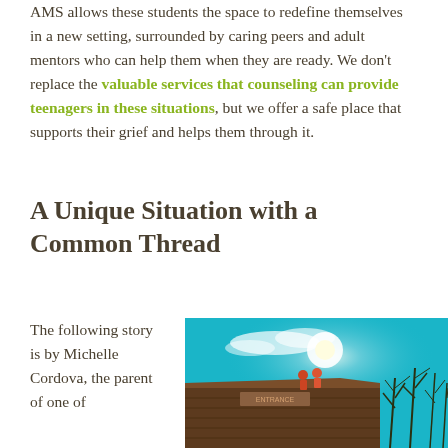AMS allows these students the space to redefine themselves in a new setting, surrounded by caring peers and adult mentors who can help them when they are ready. We don't replace the valuable services that counseling can provide teenagers in these situations, but we offer a safe place that supports their grief and helps them through it.
A Unique Situation with a Common Thread
The following story is by Michelle Cordova, the parent of one of
[Figure (photo): Photo taken from below looking up at a wooden building roofline with two small figures sitting on the roof against a bright teal/blue sky with bare trees in the background.]